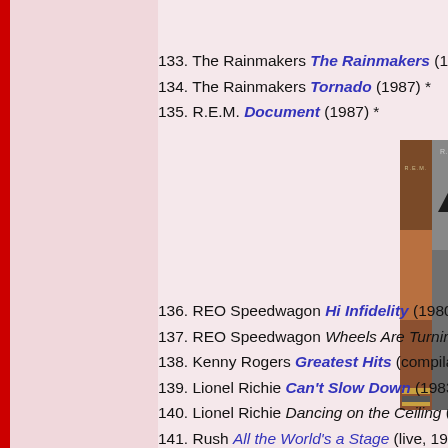133. The Rainmakers The Rainmakers (1986)
134. The Rainmakers Tornado (1987) *
135. R.E.M. Document (1987) *
[Figure (photo): Album cover for R.E.M. Document - shows spine with brown/orange tones and album art with house image in grey tones, text DOCUMENT visible]
136. REO Speedwagon Hi Infidelity (1980)
137. REO Speedwagon Wheels Are Turnin' (1984)
138. Kenny Rogers Greatest Hits (compilation: 1977-80, releas...
139. Lionel Richie Can't Slow Down (1983)
140. Lionel Richie Dancing on the Ceiling (1986)
141. Rush All the World's a Stage (live, 1976)